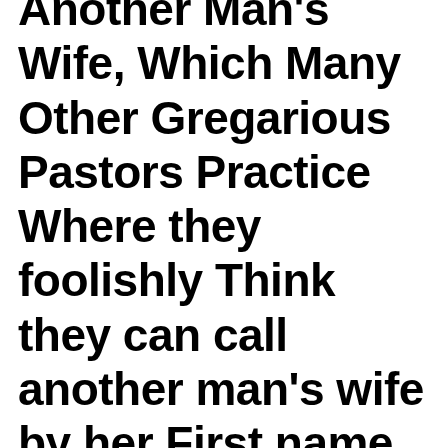Another Man's Wife, Which Many Other Gregarious Pastors Practice Where they foolishly Think they can call another man's wife by her First name without permission, be Very Familiar With Her in Other Ways, where they think they can hug